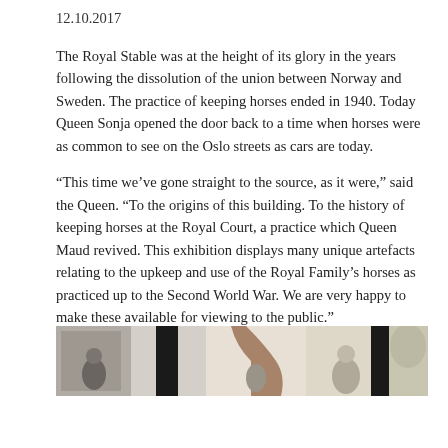12.10.2017
The Royal Stable was at the height of its glory in the years following the dissolution of the union between Norway and Sweden. The practice of keeping horses ended in 1940. Today Queen Sonja opened the door back to a time when horses were as common to see on the Oslo streets as cars are today.
“This time we’ve gone straight to the source, as it were,” said the Queen. “To the origins of this building. To the history of keeping horses at the Royal Court, a practice which Queen Maud revived. This exhibition displays many unique artefacts relating to the upkeep and use of the Royal Family’s horses as practiced up to the Second World War. We are very happy to make these available for viewing to the public.”
[Figure (photo): A strip photo showing people inside what appears to be a stable or historic building interior, with light coming through windows or doors.]